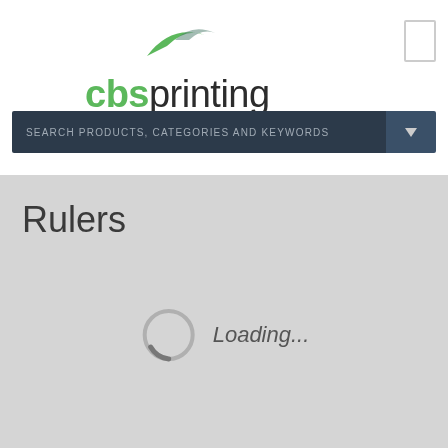[Figure (logo): CBS Printing logo with green checkmark/swoosh icon above text 'cbsprinting' in green and dark grey]
SEARCH PRODUCTS, CATEGORIES AND KEYWORDS
Rulers
Loading...